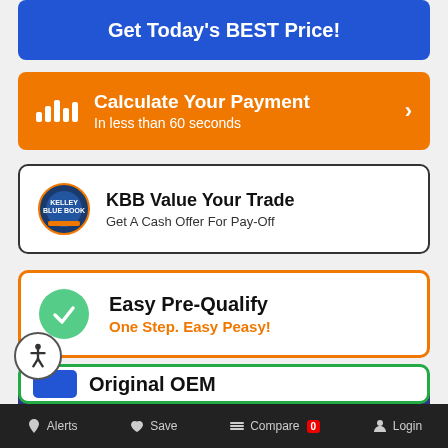[Figure (screenshot): Blue button: Get Today's BEST Price!]
[Figure (screenshot): Orange button: Calculate Your Payment / In less than 60 seconds]
[Figure (screenshot): KBB Value Your Trade / Get A Cash Offer For Pay-Off]
[Figure (screenshot): Easy Pre-Qualify / One Step. Easy Peasy! (orange bordered white button with green checkmark)]
[Figure (screenshot): Schedule Your Test Drive (dark blue button)]
[Figure (screenshot): Partial Original OEM banner at bottom (green border)]
Alerts   Save   Compare 0   Login